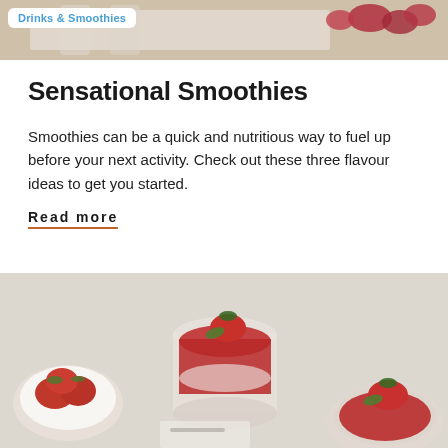[Figure (photo): Top banner photo showing smoothies or beverages with raspberries on a tray, partially visible at top of page]
Drinks & Smoothies
Sensational Smoothies
Smoothies can be a quick and nutritious way to fuel up before your next activity. Check out these three flavour ideas to get you started.
Read more
[Figure (photo): Photo of glass dessert cups filled with red strawberry sauce/coulis topped with fresh strawberries and mint, with a bowl of fresh strawberries on the left side, on a light stone background]